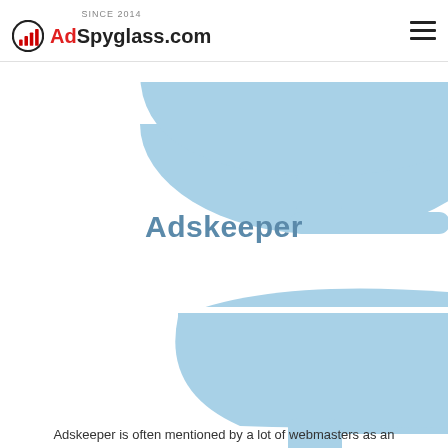SINCE 2014 AdSpyglass.com
[Figure (illustration): Two scale/balance cup shapes in light blue, one at top (partially cropped) and one in the lower half, each with a stem and horizontal bar, representing weighing scales or comparison elements. Part of a larger infographic about Adskeeper ad network.]
Adskeeper
Adskeeper is often mentioned by a lot of webmasters as an